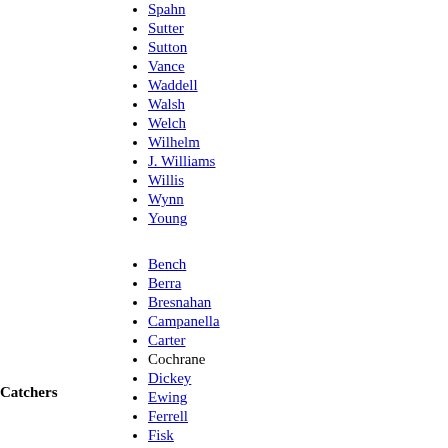Spahn
Sutter
Sutton
Vance
Waddell
Walsh
Welch
Wilhelm
J. Williams
Willis
Wynn
Young
Bench
Berra
Bresnahan
Campanella
Carter
Cochrane
Dickey
Ewing
Ferrell
Fisk
J. Gibson
Hartnett
Catchers